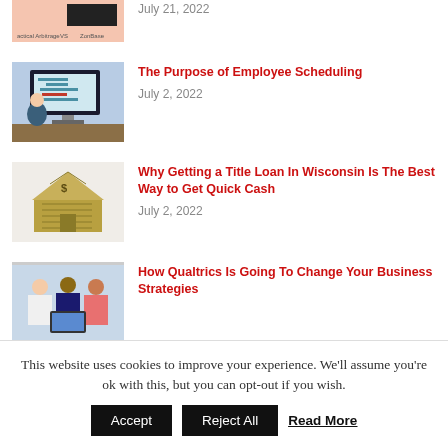July 21, 2022
[Figure (photo): Partial thumbnail of a comparison chart (Tactical Arbitrage VS ZonBase)]
[Figure (photo): Person sitting at a desk with a large monitor showing a Gantt chart or scheduling software]
The Purpose of Employee Scheduling
July 2, 2022
[Figure (photo): House made of US dollar bills]
Why Getting a Title Loan In Wisconsin Is The Best Way to Get Quick Cash
July 2, 2022
[Figure (photo): Group of business people looking at a laptop together]
How Qualtrics Is Going To Change Your Business Strategies
This website uses cookies to improve your experience. We'll assume you're ok with this, but you can opt-out if you wish.
Accept | Reject All | Read More